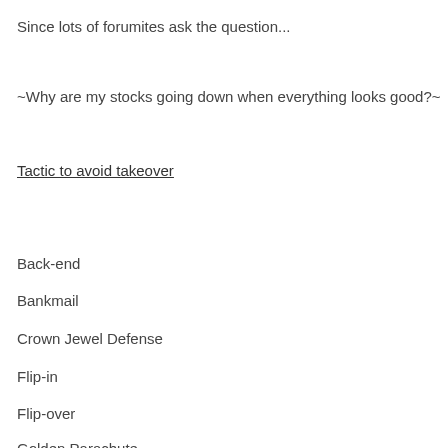Since lots of forumites ask the question...
~Why are my stocks going down when everything looks good?~
Tactic to avoid takeover
Back-end
Bankmail
Crown Jewel Defense
Flip-in
Flip-over
Golden Parachute